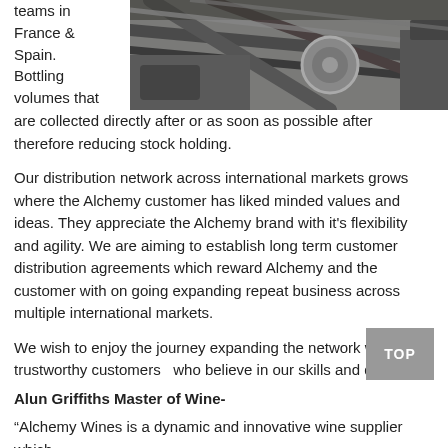teams in France & Spain. Bottling volumes that
[Figure (photo): Industrial bottling machine with hoses and mechanical equipment]
are collected directly after or as soon as possible after therefore reducing stock holding.
Our distribution network across international markets grows where the Alchemy customer has liked minded values and ideas. They appreciate the Alchemy brand with it's flexibility and agility. We are aiming to establish long term customer distribution agreements which reward Alchemy and the customer with on going expanding repeat business across multiple international markets.
We wish to enjoy the journey expanding the network with trustworthy customers  who believe in our skills and quality.
Alun Griffiths Master of Wine-
“Alchemy Wines is a dynamic and innovative wine supplier which